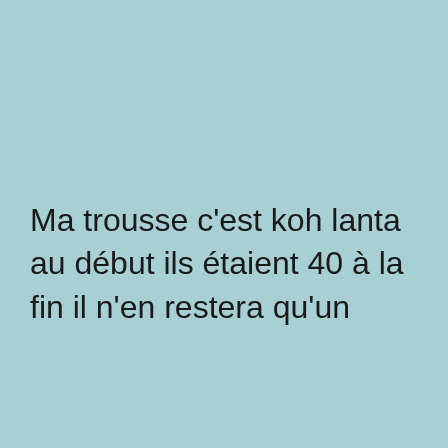Ma trousse c'est koh lanta au début ils étaient 40 à la fin il n'en restera qu'un